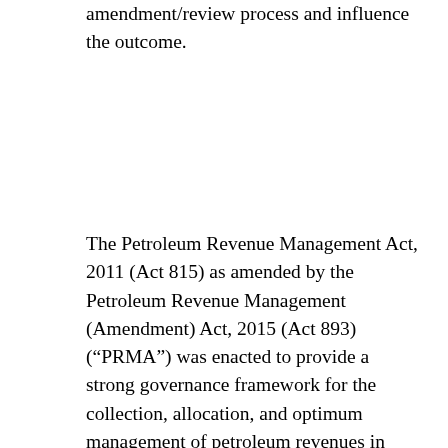amendment/review process and influence the outcome.
The Petroleum Revenue Management Act, 2011 (Act 815) as amended by the Petroleum Revenue Management (Amendment) Act, 2015 (Act 893) (“PRMA”) was enacted to provide a strong governance framework for the collection, allocation, and optimum management of petroleum revenues in Ghana. The underlying philosophy is to ensure a responsible, transparent, accountable, and sustainable management of petroleum revenues to the benefit of the citizens of Ghana, in accordance with Article 36 of the Constitution. Specifically, the PRMA provides for